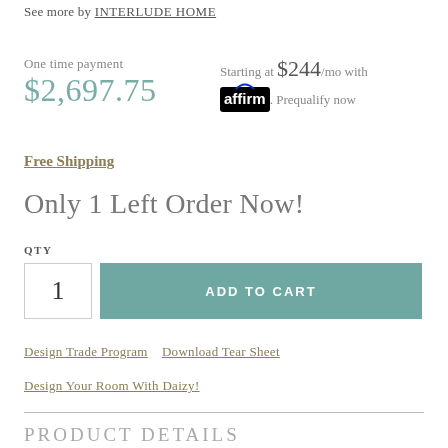See more by INTERLUDE HOME
One time payment
$2,697.75
Starting at $244/mo with affirm. Prequalify now
Free Shipping
Only 1 Left Order Now!
QTY
1
ADD TO CART
Design Trade Program
Download Tear Sheet
Design Your Room With Daizy!
PRODUCT DETAILS